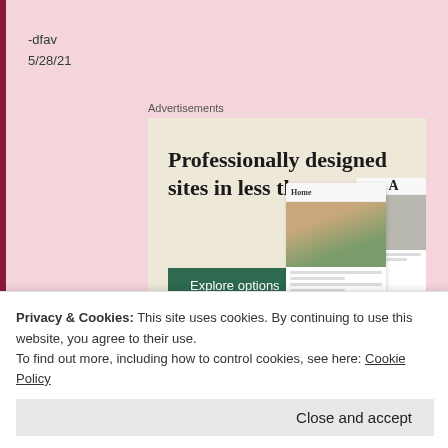-dfav
5/28/21
Advertisements
[Figure (screenshot): Advertisement banner with beige background showing text 'Professionally designed sites in less than a week' with a green 'Explore options' button and website mockup images on the right side.]
Privacy & Cookies: This site uses cookies. By continuing to use this website, you agree to their use.
To find out more, including how to control cookies, see here: Cookie Policy
Close and accept